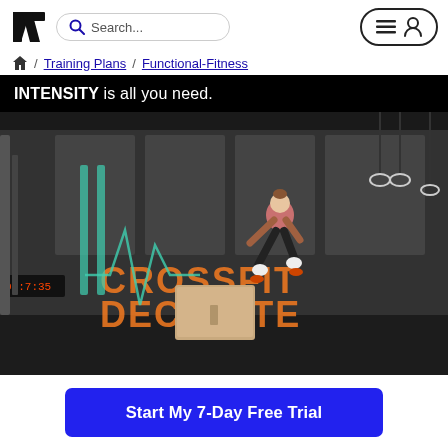[Figure (logo): Bold H logo in black]
Search...
[Figure (illustration): Hamburger menu and user profile icon button]
🏠 / Training Plans / Functional-Fitness
[Figure (photo): Woman doing box jump in CrossFit gym with CROSSFIT DECIMATE text on wall. Text overlay: INTENSITY is all you need.]
Start My 7-Day Free Trial